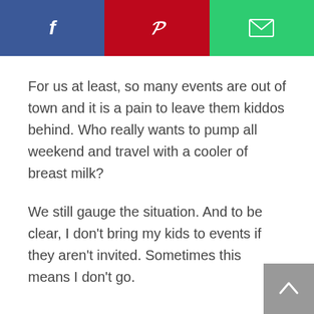[Figure (screenshot): Social sharing bar with three buttons: Facebook (blue, f icon), Pinterest (red, P icon), and Email (green, envelope icon)]
For us at least, so many events are out of town and it is a pain to leave them kiddos behind. Who really wants to pump all weekend and travel with a cooler of breast milk?
We still gauge the situation. And to be clear, I don't bring my kids to events if they aren't invited. Sometimes this means I don't go.